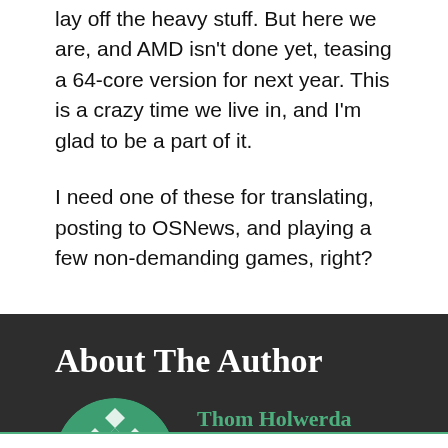lay off the heavy stuff. But here we are, and AMD isn't done yet, teasing a 64-core version for next year. This is a crazy time we live in, and I'm glad to be a part of it.
I need one of these for translating, posting to OSNews, and playing a few non-demanding games, right?
About The Author
[Figure (illustration): Circular avatar with green and white geometric diamond/quilt pattern]
Thom Holwerda
Follow me on Twitter @thomholwerda